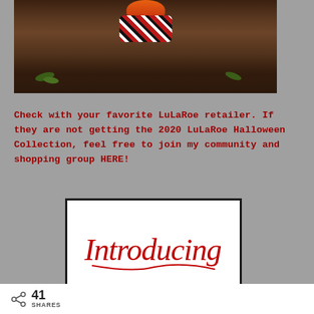[Figure (photo): Photo of a child in a Halloween costume sitting on dark soil/mulch ground with small green plants, holding a pumpkin. The lower portion of the image is visible showing the ground, costume legs with red and black pattern, and greenery.]
Check with your favorite LuLaRoe retailer. If they are not getting the 2020 LuLaRoe Halloween Collection, feel free to join my community and shopping group HERE!
[Figure (illustration): White box with black border containing the word 'Introducing' written in red handwritten/script style lettering.]
41 SHARES